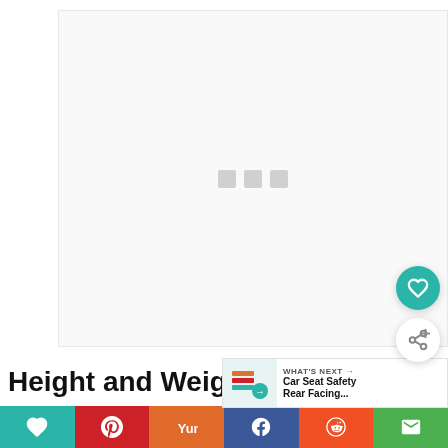[Figure (other): Large blank/loading content area with three gray square loading indicator dots in the center]
[Figure (infographic): Floating teal heart favorite button (circle) on the right side]
[Figure (infographic): Floating white share button (circle) with share icon on the right side]
Height and Weight: Your car s...
[Figure (infographic): What's Next panel showing Car Seat Safety Rear Facing... with a small thumbnail image]
[Figure (infographic): Bottom social share bar with teal heart, red Pinterest, orange Yummly, blue Facebook, orange Reddit, and green email buttons]